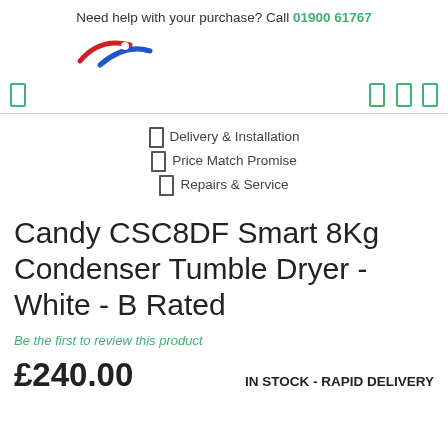Need help with your purchase? Call 01900 61767
[Figure (logo): Retailer logo with red and blue swoosh design]
Delivery & Installation | Price Match Promise | Repairs & Service
Candy CSC8DF Smart 8Kg Condenser Tumble Dryer - White - B Rated
Be the first to review this product
£240.00   IN STOCK - RAPID DELIVERY